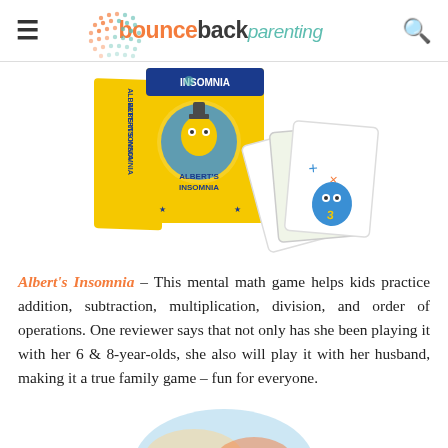bounceback parenting
[Figure (photo): Albert's Insomnia card game box and game cards displayed on white background. The yellow box shows 'Albert's Insomnia' branding and the cards are spread out showing math game elements.]
Albert's Insomnia – This mental math game helps kids practice addition, subtraction, multiplication, division, and order of operations. One reviewer says that not only has she been playing it with her 6 & 8-year-olds, she also will play it with her husband, making it a true family game – fun for everyone.
[Figure (photo): Partial bottom image of another product, showing colorful illustration clipped at page bottom.]